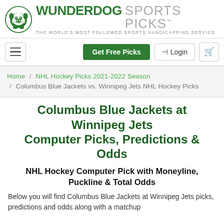[Figure (logo): Wunderdog Sports Picks logo with bulldog mascot icon and text 'WUNDERDOG SPORTS PICKS - THE WORLD'S MOST FOLLOWED SPORTS HANDICAPPING SERVICE']
Get Free Picks | Login | Cart
Home / NHL Hockey Picks 2021-2022 Season / Columbus Blue Jackets vs. Winnipeg Jets NHL Hockey Picks
Columbus Blue Jackets at Winnipeg Jets Computer Picks, Predictions & Odds
NHL Hockey Computer Pick with Moneyline, Puckline & Total Odds
Below you will find Columbus Blue Jackets at Winnipeg Jets picks, predictions and odds along with a matchup